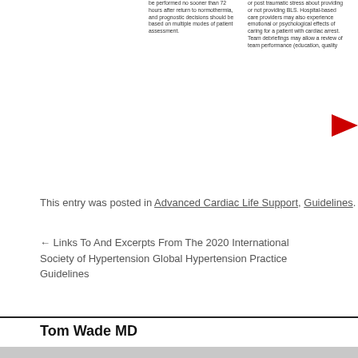be performed no sooner than 72 hours after return to normothermia, and prognostic decisions should be based on multiple modes of patient assessment.
or post traumatic stress about providing or not providing BLS. Hospital-based care providers may also experience emotional or psychological effects of caring for a patient with cardiac arrest. Team debriefings may allow a review of team performance (education, quality
This entry was posted in Advanced Cardiac Life Support, Guidelines. Bookma
← Links To And Excerpts From The 2020 International Society of Hypertension Global Hypertension Practice Guidelines
Link To Atrial F... illnes
Tom Wade MD